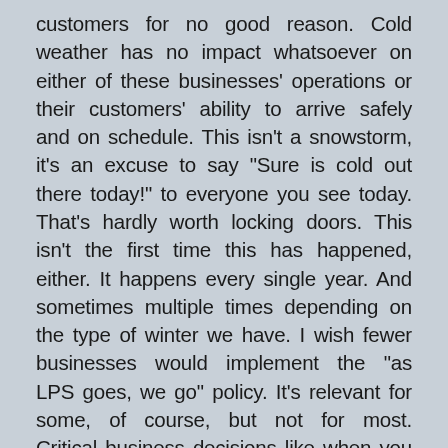customers for no good reason. Cold weather has no impact whatsoever on either of these businesses' operations or their customers' ability to arrive safely and on schedule. This isn't a snowstorm, it's an excuse to say "Sure is cold out there today!" to everyone you see today. That's hardly worth locking doors. This isn't the first time this has happened, either. It happens every single year. And sometimes multiple times depending on the type of winter we have. I wish fewer businesses would implement the "as LPS goes, we go" policy. It's relevant for some, of course, but not for most. Critical business decisions like when you open your doors should be based on what's good for your business, not what's good for a public school system. In most cases the two have very little in common. As I typed this, one of the businesses we work with called. They're going to open today after all. Make of that what you will.